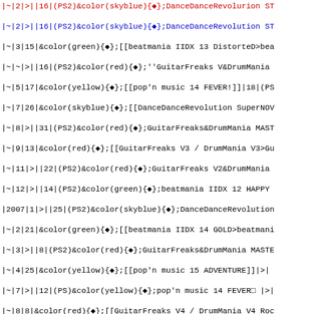Wiki markup source code showing table rows with color-coded diamond symbols for various Konami arcade/console game releases including DanceDanceRevolution, beatmania IIDX, GuitarFreaks, DrumMania, pop'n music, jubeat, and Beat'n Groovy entries from 2007-2008.